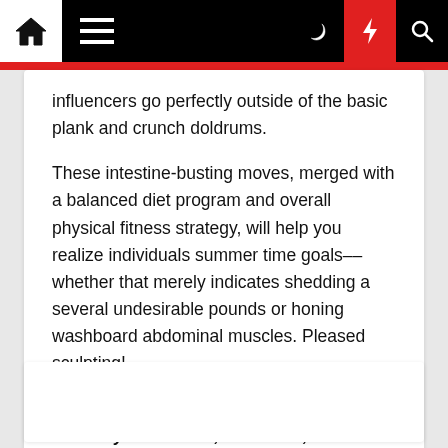Navigation bar with home, menu, moon, lightning, and search icons
influencers go perfectly outside of the basic plank and crunch doldrums.
These intestine-busting moves, merged with a balanced diet program and overall physical fitness strategy, will help you realize individuals summer time goals––whether that merely indicates shedding a several undesirable pounds or honing washboard abdominal muscles. Pleased sculpting!
For obtain to special gear movies, celebrity interviews, and more, subscribe on YouTube!